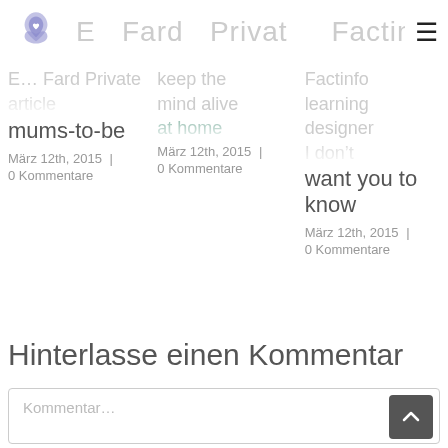Logo and navigation header
mums-to-be
März 12th, 2015 | 0 Kommentare
März 12th, 2015 | 0 Kommentare
want you to know
März 12th, 2015 | 0 Kommentare
Hinterlasse einen Kommentar
Kommentar...